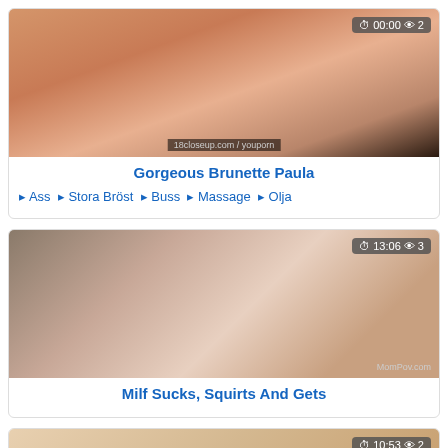[Figure (photo): Video thumbnail for Gorgeous Brunette Paula with duration badge 00:00 and view count 2]
Gorgeous Brunette Paula
Ass  Stora Bröst  Buss  Massage  Olja
[Figure (photo): Video thumbnail for Milf Sucks, Squirts And Gets with duration badge 13:06 and view count 3]
Milf Sucks, Squirts And Gets
[Figure (photo): Video thumbnail (partial) with duration badge 10:53 and view count 2]